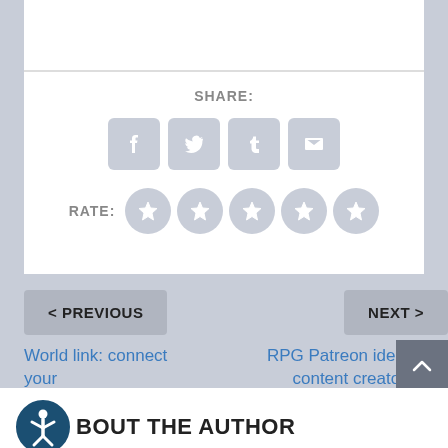SHARE:
[Figure (infographic): Four social share icon buttons: Facebook (f), Twitter bird, Tumblr (t), Email envelope — all grey rounded squares]
RATE:
[Figure (infographic): Five grey star rating circles]
< PREVIOUS
World link: connect your multiverse!
NEXT >
RPG Patreon ideas for content creators on World Anvil
ABOUT THE AUTHOR